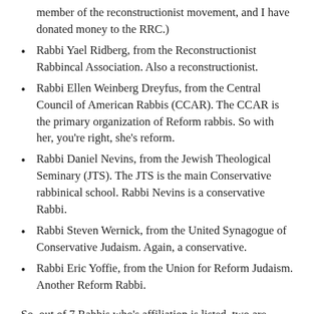member of the reconstructionist movement, and I have donated money to the RRC.)
Rabbi Yael Ridberg, from the Reconstructionist Rabbincal Association. Also a reconstructionist.
Rabbi Ellen Weinberg Dreyfus, from the Central Council of American Rabbis (CCAR). The CCAR is the primary organization of Reform rabbis. So with her, you’re right, she’s reform.
Rabbi Daniel Nevins, from the Jewish Theological Seminary (JTS). The JTS is the main Conservative rabbinical school. Rabbi Nevins is a conservative Rabbi.
Rabbi Steven Wernick, from the United Synagogue of Conservative Judaism. Again, a conservative.
Rabbi Eric Yoffie, from the Union for Reform Judaism. Another Reform Rabbi.
So, out of 7 Rabbis who’s affiliation is listed, two are Reform. Less than a third. And the other 393 Rabbis don’t have their affiliations listed. Skimming the list, I know three of the listed